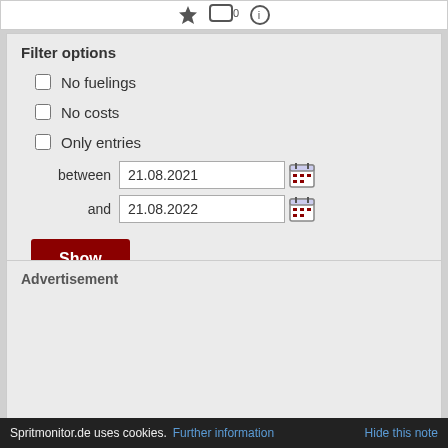[Figure (screenshot): Top bar with star icon, comment icon with 0, and info icon]
Filter options
No fuelings
No costs
Only entries
between 21.08.2021 and 21.08.2022
Advertisement
Spritmonitor.de uses cookies. Further information   Hide this note